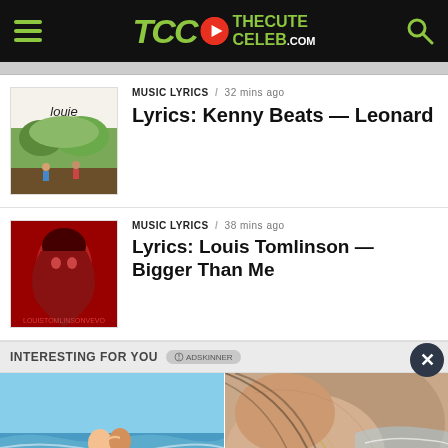TheCuteCeleb.com
MUSIC LYRICS / 32 mins ago
Lyrics: Kenny Beats — Leonard
MUSIC LYRICS / 38 mins ago
Lyrics: Louis Tomlinson — Bigger Than Me
INTERESTING FOR YOU
How To Define A Happy Couple If You Are Unacquainted To Them
Couples Do These Things That Guarantee Them Eternal Happiness